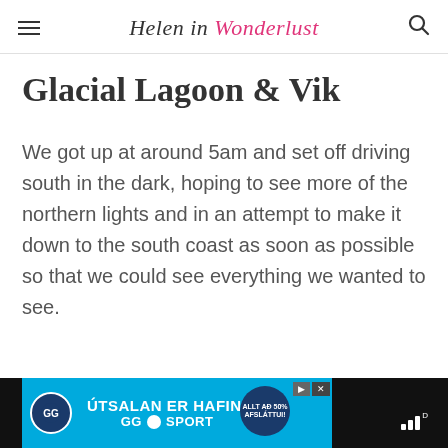Helen in Wonderlust
Glacial Lagoon & Vik
We got up at around 5am and set off driving south in the dark, hoping to see more of the northern lights and in an attempt to make it down to the south coast as soon as possible so that we could see everything we wanted to see.
[Figure (screenshot): Advertisement banner for GG Sport sale — 'ÚTSALAN ER HAFIN!' in white bold text on blue background, with circular logo on left and discount badge on right.]